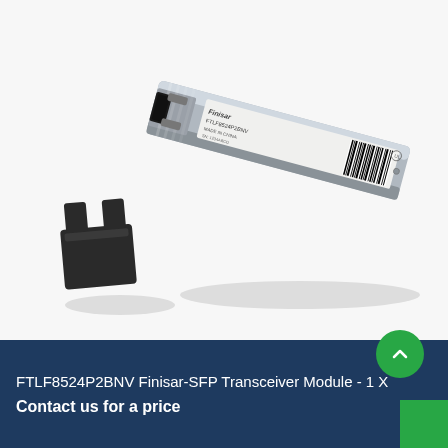[Figure (photo): A Finisar SFP transceiver module (FTLF8524P2BNV) shown lying diagonally with its silver metallic body and label visible, alongside a black dust cover/cap placed to the left. The background is white/light gray.]
FTLF8524P2BNV Finisar-SFP Transceiver Module - 1 X
Contact us for a price